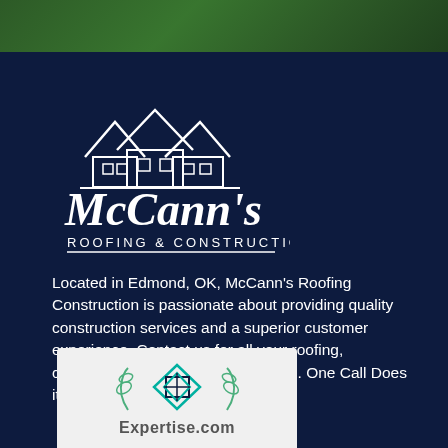[Figure (logo): Green leafy banner at top of page]
[Figure (logo): McCann's Roofing & Construction logo: three house outlines with rooflines, script text McCann's, and uppercase ROOFING & CONSTRUCTION below, all in white on dark navy background]
Located in Edmond, OK, McCann’s Roofing Construction is passionate about providing quality construction services and a superior customer experience. Contact us for all your roofing, construction, and remodeling needs. One Call Does it All!
[Figure (logo): Expertise.com badge/logo: teal diamond lattice icon with small leaf sprigs on either side and Expertise.com text below, on light gray background]